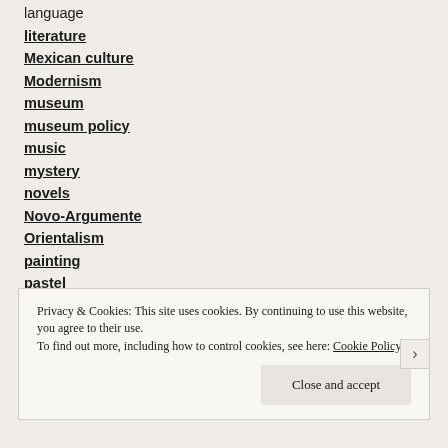language
literature
Mexican culture
Modernism
museum
museum policy
music
mystery
novels
Novo-Argumente
Orientalism
painting
pastel
philosophy
photography
Privacy & Cookies: This site uses cookies. By continuing to use this website, you agree to their use. To find out more, including how to control cookies, see here: Cookie Policy
Close and accept